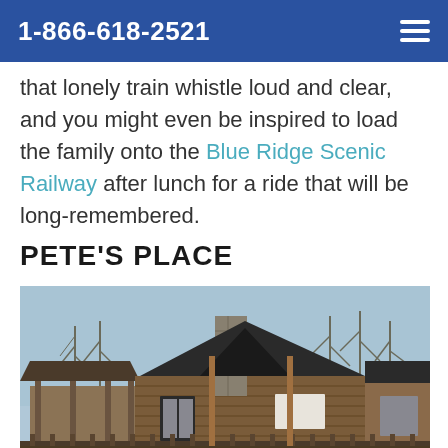1-866-618-2521
that lonely train whistle loud and clear, and you might even be inspired to load the family onto the Blue Ridge Scenic Railway after lunch for a ride that will be long-remembered.
PETE'S PLACE
[Figure (photo): Exterior photo of Pete's Place, a rustic log cabin style building with a stone chimney, dark metal roof, and wooden deck/fence in the foreground. Trees visible in background.]